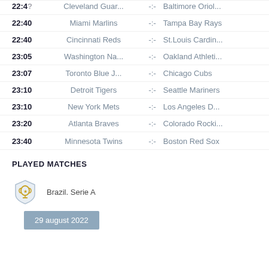22:4? Cleveland Guar... -:- Baltimore Oriol...
22:40 Miami Marlins -:- Tampa Bay Rays
22:40 Cincinnati Reds -:- St.Louis Cardin...
23:05 Washington Na... -:- Oakland Athleti...
23:07 Toronto Blue J... -:- Chicago Cubs
23:10 Detroit Tigers -:- Seattle Mariners
23:10 New York Mets -:- Los Angeles D...
23:20 Atlanta Braves -:- Colorado Rocki...
23:40 Minnesota Twins -:- Boston Red Sox
PLAYED MATCHES
Brazil. Serie A
29 august 2022